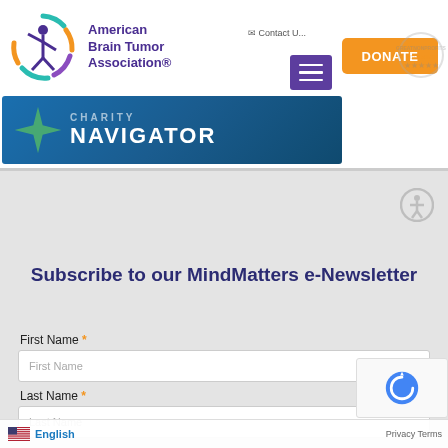[Figure (screenshot): American Brain Tumor Association website header with logo, hamburger menu, Donate button, Charity Navigator banner, and newsletter signup form]
Subscribe to our MindMatters e-Newsletter
First Name *
Last Name *
English  Privacy Terms